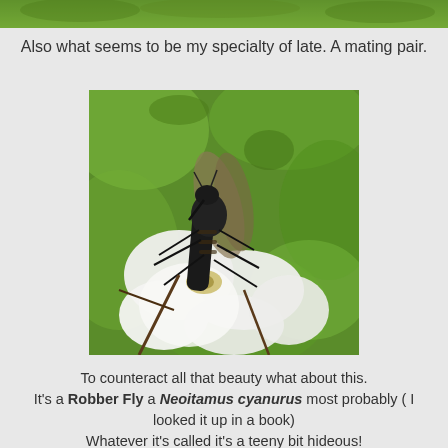[Figure (photo): Top edge of a nature photo showing green foliage, partially cropped]
Also what seems to be my specialty of late. A mating pair.
[Figure (photo): Close-up photograph of a Robber Fly (Neoitamus cyanurus) perched on a white flower with green blurred background]
To counteract all that beauty what about this. It's a Robber Fly a Neoitamus cyanurus most probably ( I looked it up in a book) Whatever it's called it's a teeny bit hideous!